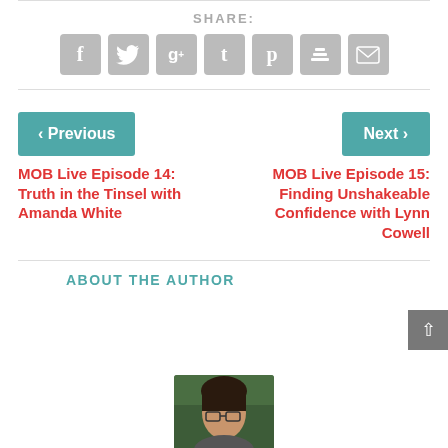SHARE:
[Figure (infographic): Row of 7 social sharing icon buttons (Facebook f, Twitter bird, Google+, Tumblr t, Pinterest p, Buffer layers, Email envelope) on gray rounded square backgrounds]
< Previous
Next >
MOB Live Episode 14: Truth in the Tinsel with Amanda White
MOB Live Episode 15: Finding Unshakeable Confidence with Lynn Cowell
ABOUT THE AUTHOR
[Figure (photo): Headshot photo of a woman with dark hair, glasses, outdoors with trees in background]